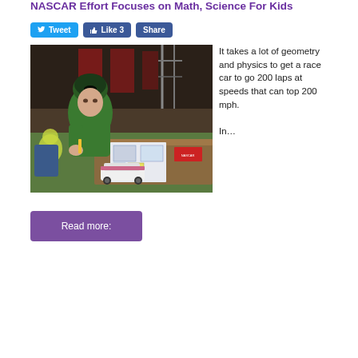NASCAR Effort Focuses on Math, Science For Kids
[Figure (photo): A child wearing a green Batman hoodie and beanie hat sits at a table at a NASCAR event, looking at a race car blueprint/diagram. A small model paper race car is on the table in front of him. NASCAR event backdrop and equipment visible in background.]
It takes a lot of geometry and physics to get a race car to go 200 laps at speeds that can top 200 mph.

In…
Read more: